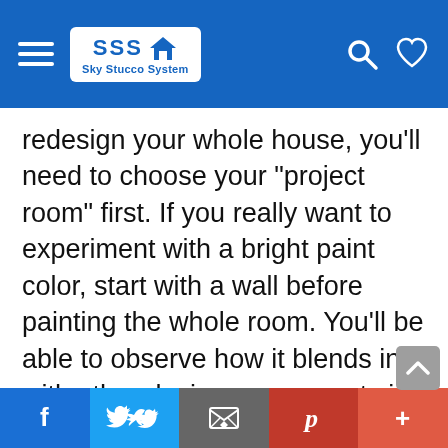SSS Sky Stucco System — navigation bar
redesign your whole house, you’ll need to choose your “project room” first. If you really want to experiment with a bright paint color, start with a wall before painting the whole room. You’ll be able to observe how it blends in with other design components in the room this way.
Remember to contrast dark or aggressive tones with natural light, space, & openness. To put it another way, we wouldn’t choose AF-655 Benjamin Moore Silhouette for a tiny, windowless
Social share bar: Facebook, Twitter, Email, Pinterest, More